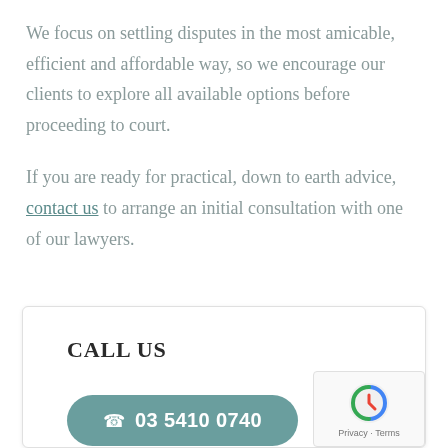We focus on settling disputes in the most amicable, efficient and affordable way, so we encourage our clients to explore all available options before proceeding to court.
If you are ready for practical, down to earth advice, contact us to arrange an initial consultation with one of our lawyers.
CALL US
03 5410 0740